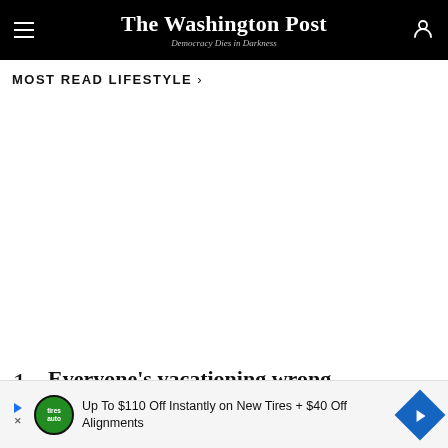The Washington Post — Democracy Dies in Darkness
MOST READ LIFESTYLE →
1  Everyone's vacationing wrong
Up To $110 Off Instantly on New Tires + $40 Off Alignments